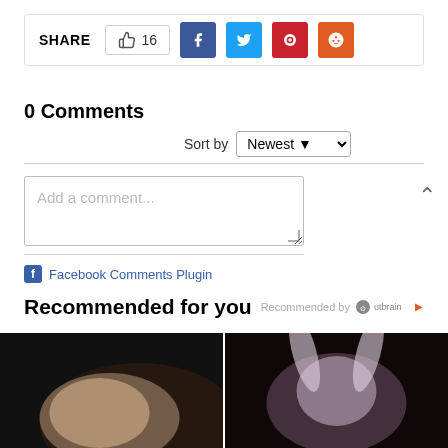[Figure (screenshot): Share bar with like count (16) and social media buttons: Facebook, Twitter, Pinterest, Reddit]
0 Comments
Sort by Newest
[Figure (screenshot): Comment text input box with placeholder text 'Add a comment...']
Facebook Comments Plugin
Recommended for you
Recommended by Outbrain
[Figure (photo): Two side-by-side images at the bottom of the page, partially visible]